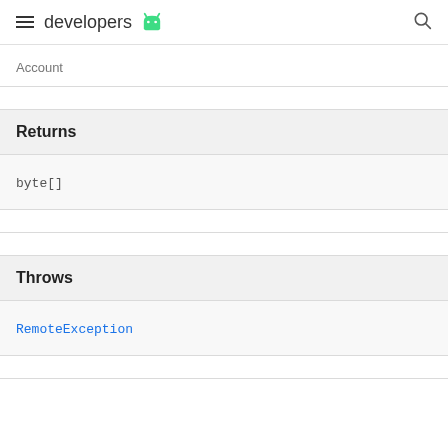developers
Account
Returns
byte[]
Throws
RemoteException